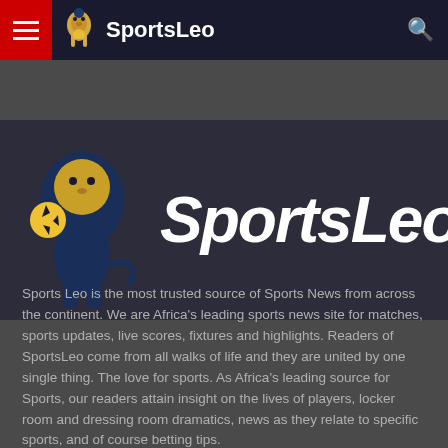SportsLeo
[Figure (logo): SportsLeo logo with lion holding a football and large italic SportsLeo text on dark banner]
Sports Leo is the most trusted source of Sports News from across the continent. We are Africa's leading sports news site for matches, sports updates, live scores, fixtures and highlights. Readers of SportsLeo come from all walks of life and they are united by one single thing. The love for sports. As Africa's leading source for Sports, our readers attain insight on the lives of players, locker room and dressing room dramatics, news as they relate to specific sports, and of course betting tips.
[Figure (infographic): Social media icons: Facebook, Twitter, Instagram, LinkedIn, RSS]
POPULAR TAGS
FEATURED
FOOTBALL
SOUTH AFRICA
PREMIER LEAGUE